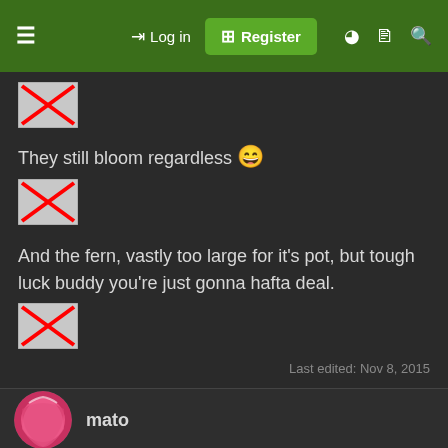≡  →) Log in  ⊕ Register  ◐  🗎  🔍
[Figure (photo): Broken image placeholder (red X on grey background)]
They still bloom regardless 😄
[Figure (photo): Broken image placeholder (red X on grey background)]
And the fern, vastly too large for it's pot, but tough luck buddy you're just gonna hafta deal.
[Figure (photo): Broken image placeholder (red X on grey background)]
Last edited: Nov 8, 2015
mato
This site uses cookies to help personalise content, tailor your experience and to keep you logged in if you register.
By continuing to use this site, you are consenting to our use of cookies.